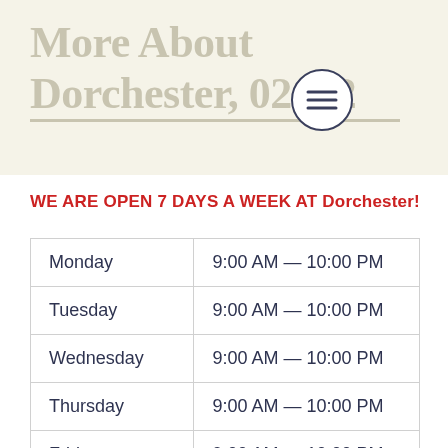More About Dorchester, 02122
WE ARE OPEN 7 DAYS A WEEK AT Dorchester!
| Day | Hours |
| --- | --- |
| Monday | 9:00 AM — 10:00 PM |
| Tuesday | 9:00 AM — 10:00 PM |
| Wednesday | 9:00 AM — 10:00 PM |
| Thursday | 9:00 AM — 10:00 PM |
| Friday | 9:00 AM — 10:00 PM |
| Saturday | 11:00 AM — 10:00 PM |